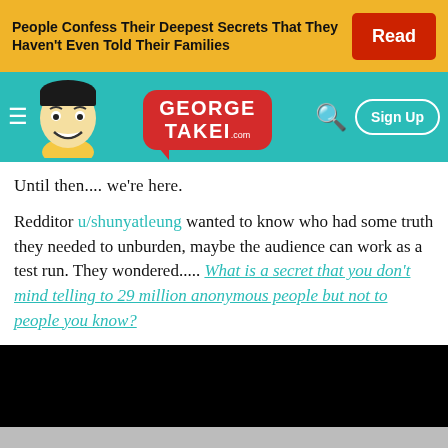People Confess Their Deepest Secrets That They Haven't Even Told Their Families | Read
[Figure (screenshot): George Takei website navigation bar with mascot illustration, logo speech bubble, search icon, and Sign Up button on teal background]
Until then.... we're here.
Redditor u/shunyatleung wanted to know who had some truth they needed to unburden, maybe the audience can work as a test run. They wondered..... What is a secret that you don't mind telling to 29 million anonymous people but not to people you know?
[Figure (screenshot): Black media/video player block at bottom of page with gray area below and close X button]